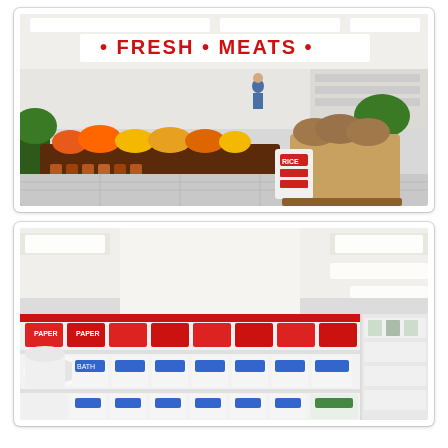[Figure (photo): Interior of a supermarket produce section with a 'FRESH MEATS' sign on the wall. Display tables with fruits and vegetables, potted plants, and a pallet cart with sacks of potatoes and bags of rice in the foreground. Bright fluorescent lighting and white tiled floor.]
[Figure (photo): Interior of a supermarket aisle showing shelves stocked with paper products including toilet paper and paper towels. The aisle has a red strip along the shelf divider. Fluorescent ceiling lights visible above.]